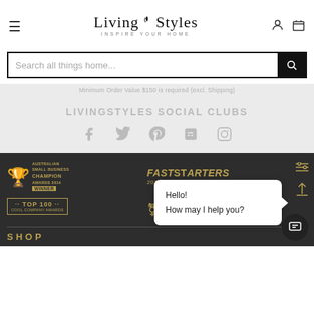LivingStyles — INSPIRE YOUR HOME
Search all things home...
Minimum Order Value $150 is required (excl. Shipping)
LIVINGSTYLES SOCIAL CLUBS
[Figure (other): Social media icons: Facebook, Twitter, Pinterest, Blogger, Instagram]
[Figure (other): Award badges: Australian Small Business Champion Awards 2014 Winner; FastStarters 2014,2015,2018; Top 100 Cool Company Awards; Telstra Australian Business Awards Nominee 2014]
SHOP
Hello!
How may I help you?